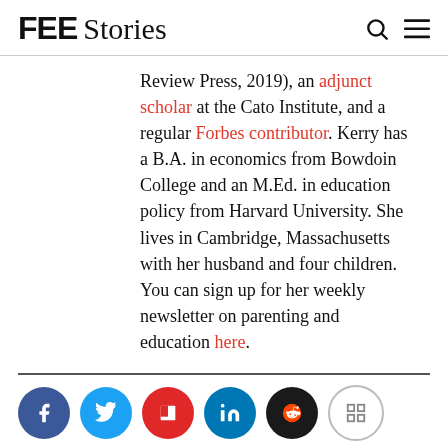FEE Stories
Review Press, 2019), an adjunct scholar at the Cato Institute, and a regular Forbes contributor. Kerry has a B.A. in economics from Bowdoin College and an M.Ed. in education policy from Harvard University. She lives in Cambridge, Massachusetts with her husband and four children. You can sign up for her weekly newsletter on parenting and education here.
[Figure (other): Social sharing icons row: Facebook (blue circle), Twitter (light blue circle), Flipboard (red circle), LinkedIn (blue circle), Reddit (black circle), Grid/share (gray outline circle)]
[Figure (other): Bottom action icons: share arrow icon and comment bubble icon with count 7]